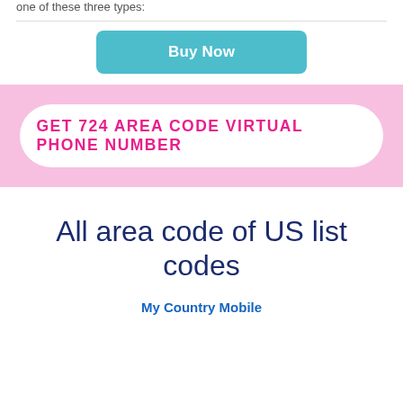one of these three types:
[Figure (other): Buy Now button — teal/cyan rounded rectangle with white text]
[Figure (other): Pink banner with white rounded pill containing bold magenta text: GET 724 AREA CODE VIRTUAL PHONE NUMBER]
All area code of US list codes
My Country Mobile